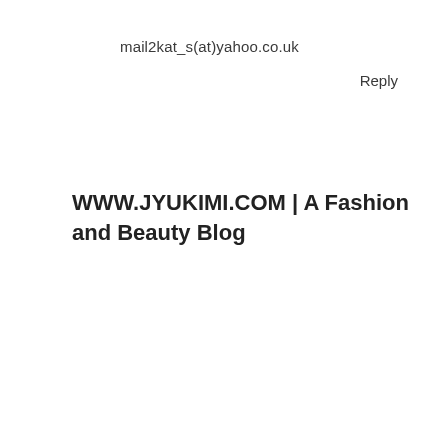mail2kat_s(at)yahoo.co.uk
Reply
WWW.JYUKIMI.COM | A Fashion and Beauty Blog